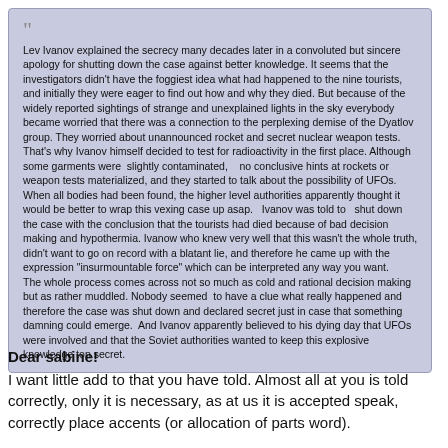Lev Ivanov explained the secrecy many decades later in a convoluted but sincere apology for shutting down the case against better knowledge. It seems that the investigators didn't have the foggiest idea what had happened to the nine tourists, and initially they were eager to find out how and why they died. But because of the widely reported sightings of strange and unexplained lights in the sky everybody became worried that there was a connection to the perplexing demise of the Dyatlov group. They worried about unannounced rocket and secret nuclear weapon tests. That's why Ivanov himself decided to test for radioactivity in the first place. Although some garments were slightly contaminated, no conclusive hints at rockets or weapon tests materialized, and they started to talk about the possibility of UFOs. When all bodies had been found, the higher level authorities apparently thought it would be better to wrap this vexing case up asap. Ivanov was told to shut down the case with the conclusion that the tourists had died because of bad decision making and hypothermia. Ivanow who knew very well that this wasn't the whole truth, didn't want to go on record with a blatant lie, and therefore he came up with the expression "insurmountable force" which can be interpreted any way you want.
The whole process comes across not so much as cold and rational decision making but as rather muddled. Nobody seemed to have a clue what really happened and therefore the case was shut down and declared secret just in case that something damning could emerge. And Ivanov apparently believed to his dying day that UFOs were involved and that the Soviet authorities wanted to keep this explosive knowledge top secret.
Dear sabine!
I want little add to that you have told. Almost all at you is told correctly, only it is necessary, as at us it is accepted speak, correctly place accents (or allocation of parts word).